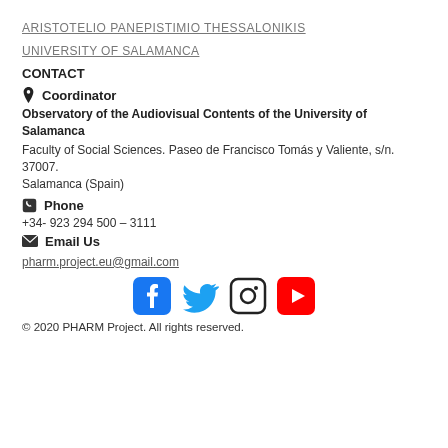ARISTOTELIO PANEPISTIMIO THESSALONIKIS
UNIVERSITY OF SALAMANCA
CONTACT
📍 Coordinator
Observatory of the Audiovisual Contents of the University of Salamanca
Faculty of Social Sciences. Paseo de Francisco Tomás y Valiente, s/n. 37007. Salamanca (Spain)
📞 Phone
+34- 923 294 500 – 3111
✉ Email Us
pharm.project.eu@gmail.com
[Figure (other): Social media icons: Facebook, Twitter, Instagram, YouTube]
© 2020 PHARM Project. All rights reserved.